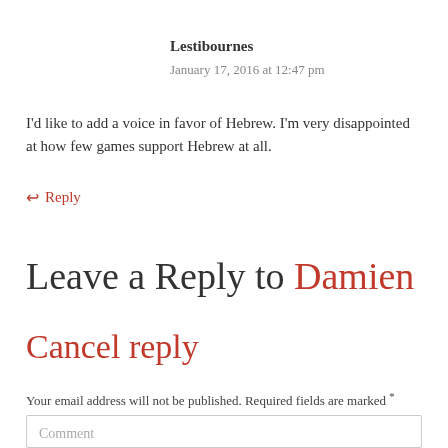Lestibournes
January 17, 2016 at 12:47 pm
I'd like to add a voice in favor of Hebrew. I'm very disappointed at how few games support Hebrew at all.
↩ Reply
Leave a Reply to Damien
Cancel reply
Your email address will not be published. Required fields are marked *
Comment